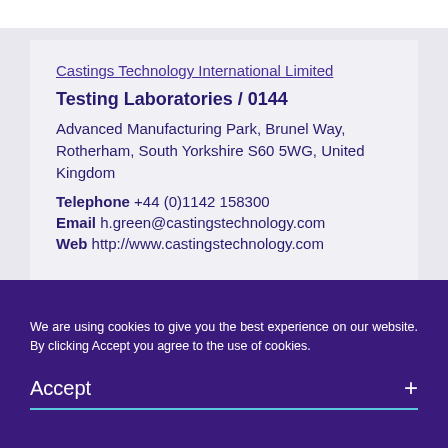Castings Technology International Limited
Testing Laboratories / 0144
Advanced Manufacturing Park, Brunel Way, Rotherham, South Yorkshire S60 5WG, United Kingdom
Telephone +44 (0)1142 158300
Email h.green@castingstechnology.com
Web http://www.castingstechnology.com
We are using cookies to give you the best experience on our website. By clicking Accept you agree to the use of cookies.
Accept